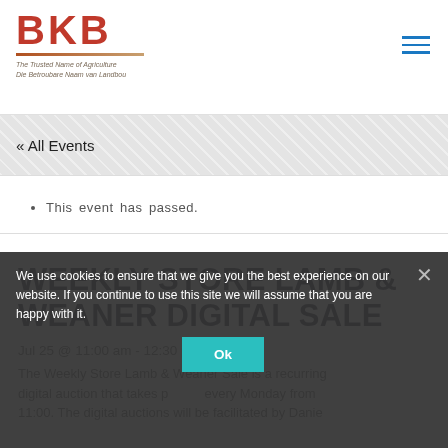[Figure (logo): BKB logo with red bold lettering, tagline 'The Trusted Name of Agriculture / Die Betroubare Naam van Landbou' and decorative underline]
BKB - The Trusted Name of Agriculture / Die Betroubare Naam van Landbou
« All Events
This event has passed.
WEEKLY STORE LAMB & WEANER DIGITAL SALE
Jul 25 @ 11:00 am - 12:30 pm
The Weekly Store Lamb & Weaner Sale is a recurring digital auction that takes place every Monday from 11:00. The digital auctions will be facilitated by Danie
We use cookies to ensure that we give you the best experience on our website. If you continue to use this site we will assume that you are happy with it.
Ok